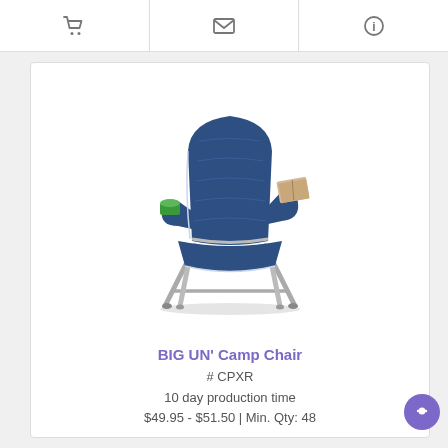Navigation icons: cart, email, info
[Figure (photo): A navy blue folding camp chair with cup holders on both armrests and crossed metal frame legs, photographed on white background.]
BIG UN' Camp Chair
# CPXR
10 day production time
$49.95 - $51.50 | Min. Qty: 48